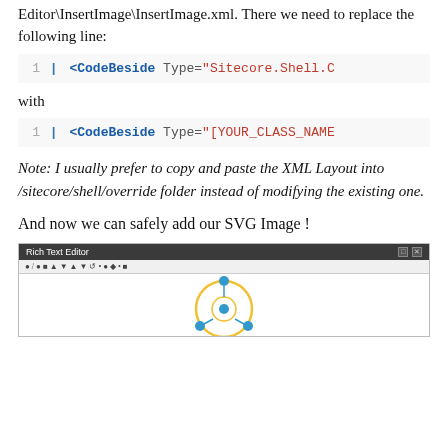Editor\InsertImage\InsertImage.xml. There we need to replace the following line:
[Figure (screenshot): Code block showing: 1 | <CodeBeside Type="Sitecore.Shell.C]
with
[Figure (screenshot): Code block showing: 1 | <CodeBeside Type="[YOUR_CLASS_NAME]
Note: I usually prefer to copy and paste the XML Layout into /sitecore/shell/override folder instead of modifying the existing one.
And now we can safely add our SVG Image !
[Figure (screenshot): Rich Text Editor dialog screenshot showing toolbar and a circular SVG image with connected nodes]